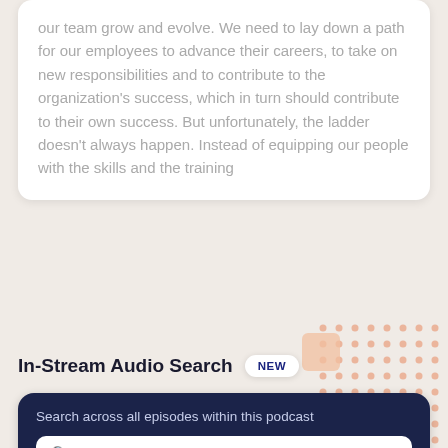our team grow and evolve. We need to lay down a path for our employees to advance their careers, to take on new responsibilities and to contribute to the organization's success, which in turn should contribute to their own success. But unfortunately, the ladder doesn't always happen. Instead of equipping our people with the skills and the training
In-Stream Audio Search
NEW
Search across all episodes within this podcast
Search for keywords, topics, people or in
Episodes (116)